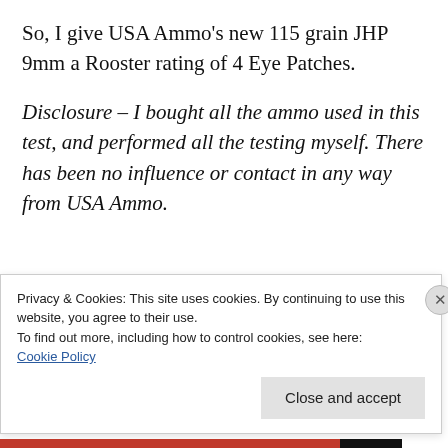So, I give USA Ammo’s new 115 grain JHP 9mm a Rooster rating of 4 Eye Patches.
Disclosure – I bought all the ammo used in this test, and performed all the testing myself. There has been no influence or contact in any way from USA Ammo.
Privacy & Cookies: This site uses cookies. By continuing to use this website, you agree to their use.
To find out more, including how to control cookies, see here: Cookie Policy
Close and accept